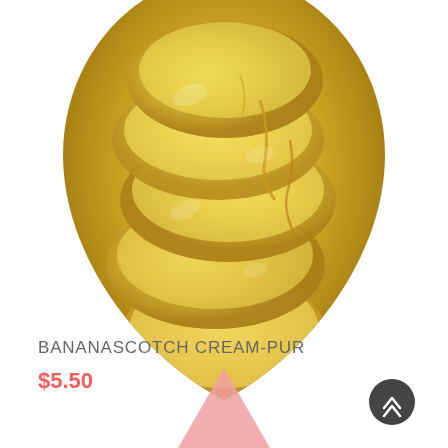[Figure (photo): Banana slices with caramel/butterscotch sauce displayed in a teardrop-shaped clipped photo]
BANANASCOTCH CREAM-PUR
$5.50
[Figure (illustration): Pink teardrop/triangle shape at bottom of page and dark circular back-to-top button with double chevron icon]